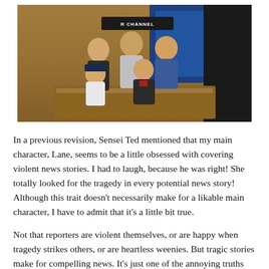[Figure (photo): A group photo of five people inside a TV news studio. Three men stand in the back row, one woman and one man are in the front near the anchor desk. Wooden paneling and blue background screens are visible, along with a sign reading 'CHANNEL' in the back.]
In a previous revision, Sensei Ted mentioned that my main character, Lane, seems to be a little obsessed with covering violent news stories. I had to laugh, because he was right! She totally looked for the tragedy in every potential news story! Although this trait doesn't necessarily make for a likable main character, I have to admit that it's a little bit true.
Not that reporters are violent themselves, or are happy when tragedy strikes others, or are heartless weenies. But tragic stories make for compelling news. It's just one of the annoying truths about journalism.